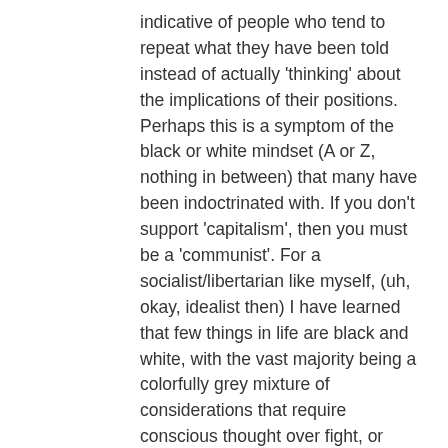indicative of people who tend to repeat what they have been told instead of actually 'thinking' about the implications of their positions. Perhaps this is a symptom of the black or white mindset (A or Z, nothing in between) that many have been indoctrinated with. If you don't support 'capitalism', then you must be a 'communist'. For a socialist/libertarian like myself, (uh, okay, idealist then) I have learned that few things in life are black and white, with the vast majority being a colorfully grey mixture of considerations that require conscious thought over fight, or flight responses. (reactionary, no thinking) Since greed is not an act of fight or flight survival, then once again, I reiterate that 'greed' is a poor construct for a viable global community. So, in a nutshell, I have been part of the